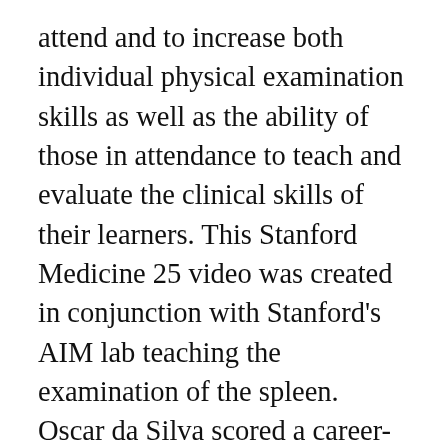attend and to increase both individual physical examination skills as well as the ability of those in attendance to teach and evaluate the clinical skills of their learners. This Stanford Medicine 25 video was created in conjunction with Stanford's AIM lab teaching the examination of the spleen. Oscar da Silva scored a career-high 32 points to lead Stanford to a 82-71 win over Cal State Northridge while Utah held off Utah Valley 75-67. NEW YORK (AP) — Coach Tara VanDerveer and Stanford are the new No. Stanford 25 is an innovative program focused on teaching residents advanced physical exam skills.It is built on the principle that, like any other skill, technique matters. Schwartz is an excellent teacher within the Stanford